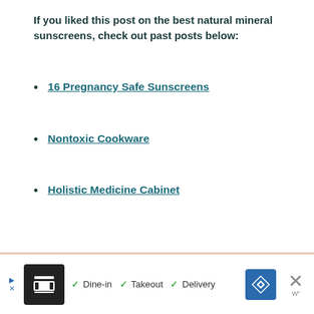If you liked this post on the best natural mineral sunscreens, check out past posts below:
16 Pregnancy Safe Sunscreens
Nontoxic Cookware
Holistic Medicine Cabinet
[Figure (other): Advertisement banner at bottom of page showing a restaurant listing ad with logo, checkmarks for Dine-in, Takeout, Delivery, a navigation icon, and a close button]